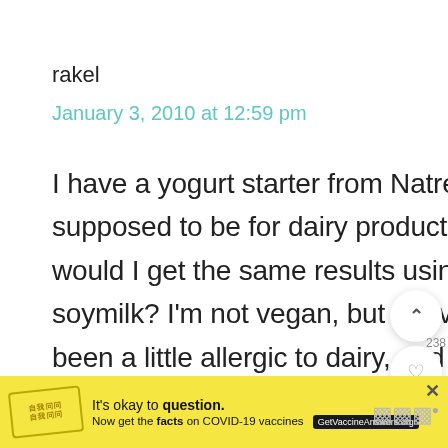rakel
January 3, 2010 at 12:59 pm
I have a yogurt starter from Natren. It's supposed to be for dairy products, but would I get the same results using it in soymilk? I'm not vegan, but I have always been a little allergic to dairy, and it seems to be getting worse. I'd love it if I could make some of my own soy yogurt and cheese products. Awhile ago my mom p
[Figure (screenshot): Advertisement banner at the bottom: yellow background, stamp icon, text 'It's okay to question. Now get the facts on COVID-19 vaccines' with GetVaccineAnswers.org badge. X close button top right.]